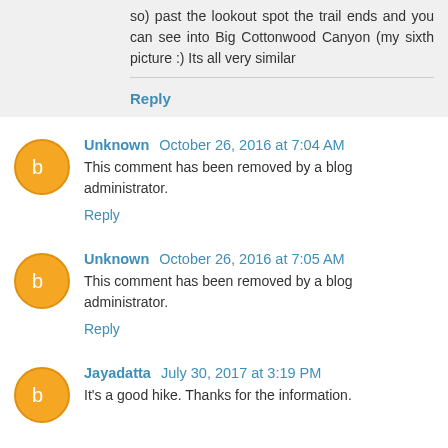so) past the lookout spot the trail ends and you can see into Big Cottonwood Canyon (my sixth picture :) Its all very similar
Reply
Unknown  October 26, 2016 at 7:04 AM
This comment has been removed by a blog administrator.
Reply
Unknown  October 26, 2016 at 7:05 AM
This comment has been removed by a blog administrator.
Reply
Jayadatta  July 30, 2017 at 3:19 PM
It's a good hike. Thanks for the information.